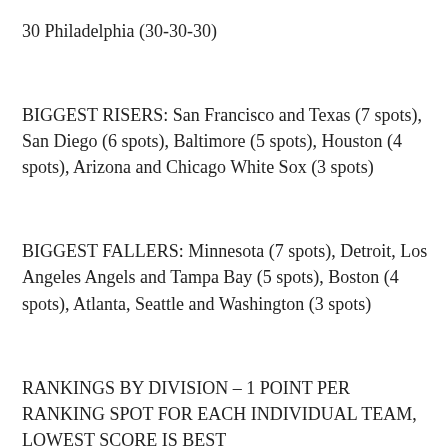30 Philadelphia (30-30-30)
BIGGEST RISERS: San Francisco and Texas (7 spots), San Diego (6 spots), Baltimore (5 spots), Houston (4 spots), Arizona and Chicago White Sox (3 spots)
BIGGEST FALLERS: Minnesota (7 spots), Detroit, Los Angeles Angels and Tampa Bay (5 spots), Boston (4 spots), Atlanta, Seattle and Washington (3 spots)
RANKINGS BY DIVISION – 1 POINT PER RANKING SPOT FOR EACH INDIVIDUAL TEAM, LOWEST SCORE IS BEST